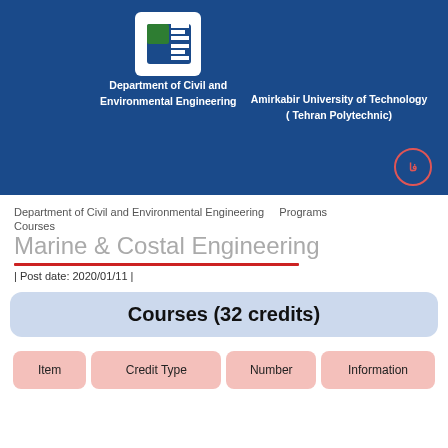[Figure (logo): CEE Department logo - stylized letters C and E in white and green on blue background]
Department of Civil and Environmental Engineering
Amirkabir University of Technology ( Tehran Polytechnic)
Department of Civil and Environmental Engineering   Programs   Courses
Marine & Costal Engineering
| Post date: 2020/01/11 |
Courses (32 credits)
| Item | Credit Type | Number | Information |
| --- | --- | --- | --- |